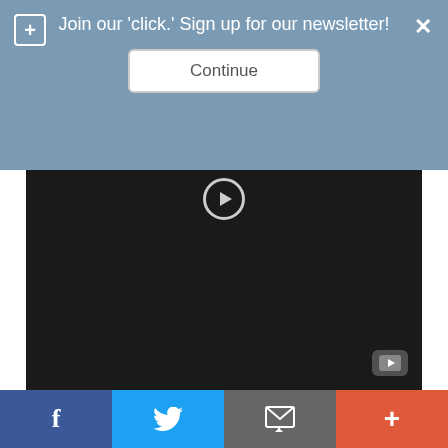Join our 'click.' Sign up for our newsletter!
[Figure (screenshot): Dark video player area with a play circle icon at top center and a YouTube icon at bottom right]
Here she uses 3 – 4 packs of Kanekalon hair in color #27.  She curls the hair by wrapping them around flexirods first then puts them in hot water. She then unravels them when dry and installs using the crochet method. (If you're not familiar with...
f  [Twitter bird]  [email/share icon]  +